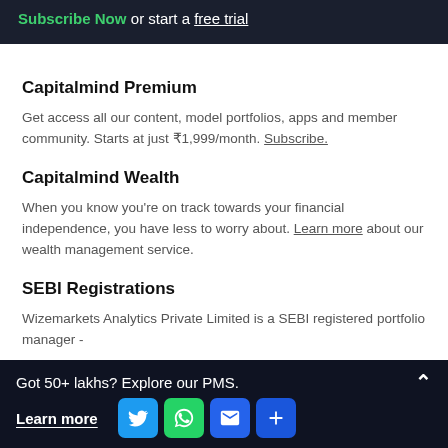Subscribe Now or start a free trial
Capitalmind Premium
Get access all our content, model portfolios, apps and member community. Starts at just ₹1,999/month. Subscribe.
Capitalmind Wealth
When you know you're on track towards your financial independence, you have less to worry about. Learn more about our wealth management service.
SEBI Registrations
Wizemarkets Analytics Private Limited is a SEBI registered portfolio manager -
Got 50+ lakhs? Explore our PMS. Learn more